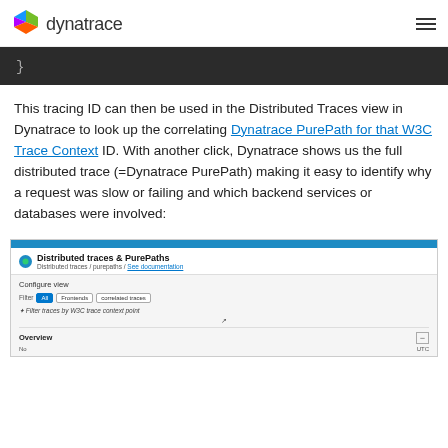dynatrace
[Figure (screenshot): Code block showing closing brace of a code snippet on dark background]
This tracing ID can then be used in the Distributed Traces view in Dynatrace to look up the correlating Dynatrace PurePath for that W3C Trace Context ID. With another click, Dynatrace shows us the full distributed trace (=Dynatrace PurePath) making it easy to identify why a request was slow or failing and which backend services or databases were involved:
[Figure (screenshot): Dynatrace UI screenshot showing Distributed traces & PurePaths panel with Configure view section and Overview section]